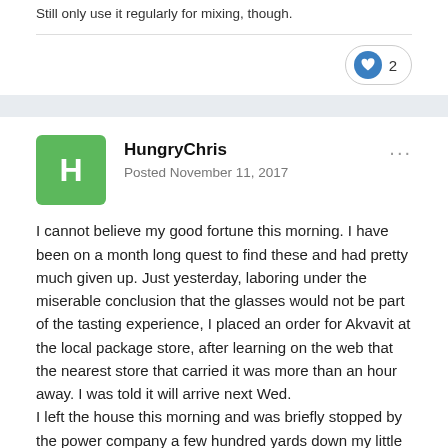Still only use it regularly for mixing, though.
2
HungryChris
Posted November 11, 2017
I cannot believe my good fortune this morning. I have been on a month long quest to find these and had pretty much given up. Just yesterday, laboring under the miserable conclusion that the glasses would not be part of the tasting experience, I placed an order for Akvavit at the local package store, after learning on the web that the nearest store that carried it was more than an hour away. I was told it will arrive next Wed.
I left the house this morning and was briefly stopped by the power company a few hundred yards down my little rural road while  they moved some equipment into place. I say briefly, but just long enough to spot these familiar shaped glasses at a table at an unlikely and poorly attended yard sale  few doors down